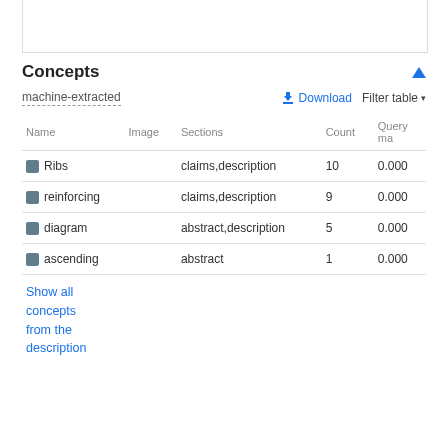Concepts
machine-extracted
| Name | Image | Sections | Count | Query ma |
| --- | --- | --- | --- | --- |
| Ribs |  | claims,description | 10 | 0.000 |
| reinforcing |  | claims,description | 9 | 0.000 |
| diagram |  | abstract,description | 5 | 0.000 |
| ascending |  | abstract | 1 | 0.000 |
Show all concepts from the description